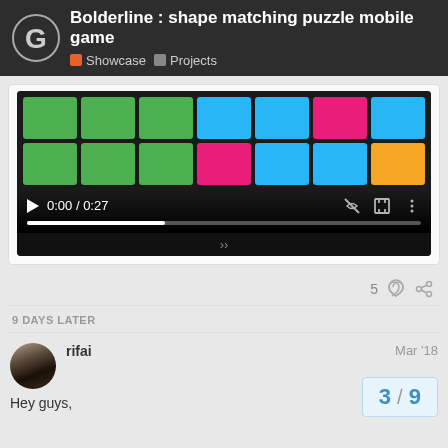Bolderline : shape matching puzzle mobile game — Showcase | Projects
[Figure (screenshot): Video player screenshot showing a color grid puzzle game with green, blue, pink, and orange colored squares in a 2-row by 7-column grid, with video controls showing 0:00 / 0:27]
5
9 DAYS LATER
rifai — Mar '18
Hey guys,
3 / 9